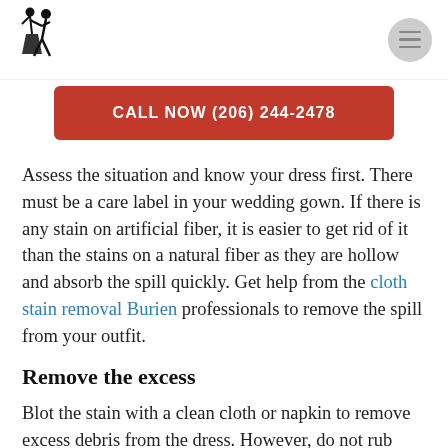[Figure (logo): Black silhouette logo of a dancing couple figure]
[Figure (other): Gray circular hamburger menu icon with three horizontal lines]
CALL NOW (206) 244-2478
Assess the situation and know your dress first. There must be a care label in your wedding gown. If there is any stain on artificial fiber, it is easier to get rid of it than the stains on a natural fiber as they are hollow and absorb the spill quickly. Get help from the cloth stain removal Burien professionals to remove the spill from your outfit.
Remove the excess
Blot the stain with a clean cloth or napkin to remove excess debris from the dress. However, do not rub